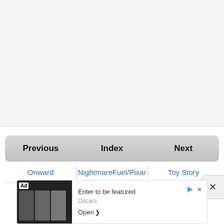[Figure (screenshot): Large light gray empty area at the top of the page, representing blank content area]
| Previous | Index | Next |
| --- | --- | --- |
| Onward | NightmareFuel/Pixar | Toy Story |
[Figure (screenshot): Advertisement banner at bottom: 'Enter to be featured' with Oscars label and Open button, featuring dark movie imagery]